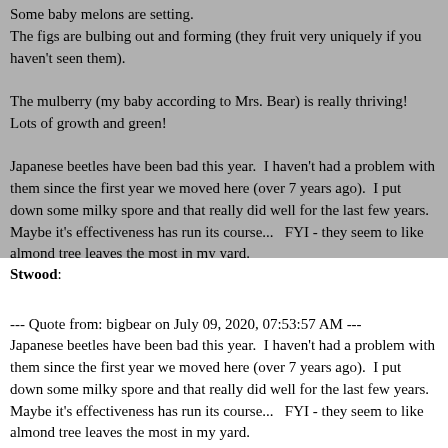Some baby melons are setting.
The figs are bulbing out and forming (they fruit very uniquely if you haven't seen them).
The mulberry (my baby according to Mrs. Bear) is really thriving! Lots of growth and green!
Japanese beetles have been bad this year.  I haven't had a problem with them since the first year we moved here (over 7 years ago).  I put down some milky spore and that really did well for the last few years.  Maybe it's effectiveness has run its course...   FYI - they seem to like almond tree leaves the most in my yard.
Stwood:
--- Quote from: bigbear on July 09, 2020, 07:53:57 AM ---
Japanese beetles have been bad this year.  I haven't had a problem with them since the first year we moved here (over 7 years ago).  I put down some milky spore and that really did well for the last few years.  Maybe it's effectiveness has run its course...   FYI - they seem to like almond tree leaves the most in my yard.
--- End quote ---
Garden sounds great.
Tell me about the mill...